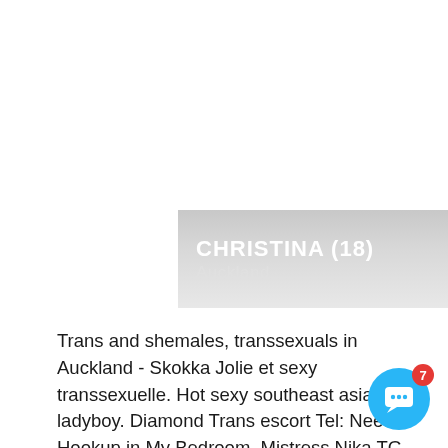CHRISTINA (18) Auckland
Trans and shemales, transsexuals in Auckland - Skokka Jolie et sexy transsexuelle. Hot sexy southeast asia ladyboy. Diamond Trans escort Tel: Need Hookup in My Bedroom. Mistress Nika TG. TRANS nick. Trans girl. Transsexual Escorts Waitakere. Transsexual Gemma xxx, Otara? Transsexual Escorts Manukau. Mature Trans-Avail, Auckland Region. By clicking the "Accept" button, the User certifies that he or she is Over 18 and relieves service providers, owners and creators of skokka. Read more. I'm over 18 years old. The publication of any